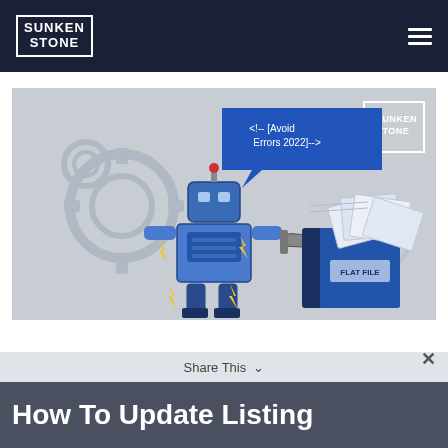SUNKEN STONE
[Figure (illustration): Illustrated scene on gray background: a blue robot holding a wrench with a speech bubble saying '<!-- [Avoid Errors 2022] -->', gears in background, and a blue flat file/folder with document pages fanning out. Sunken Stone logo in top right of image.]
Share This
How To Update Listing